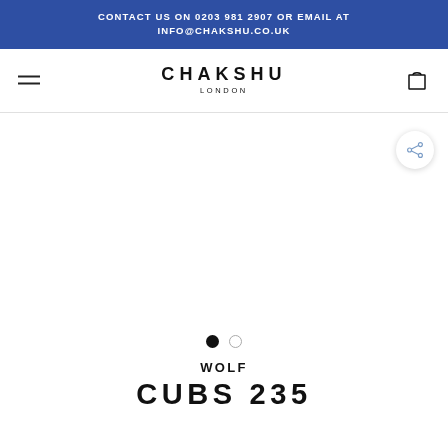CONTACT US ON 0203 981 2907 OR EMAIL AT INFO@CHAKSHU.CO.UK
[Figure (logo): Chakshu London logo with hamburger menu on left and shopping bag icon on right]
[Figure (photo): Product image area (empty/white) with share button, two navigation dots below indicating image carousel]
WOLF
CUBS 235